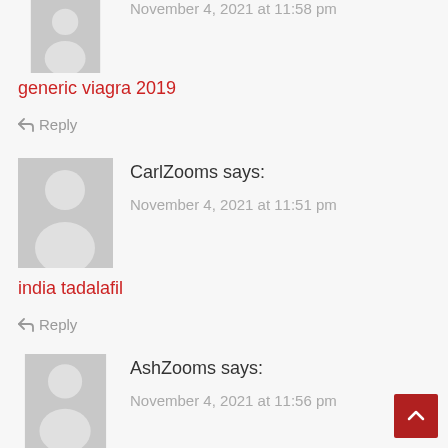[Figure (photo): Gray avatar placeholder image, partially cropped at top]
generic viagra 2019
↩ Reply
[Figure (photo): Gray avatar placeholder silhouette image]
CarlZooms says:
November 4, 2021 at 11:51 pm
india tadalafil
↩ Reply
[Figure (photo): Gray avatar placeholder silhouette image, partially cropped at bottom]
AshZooms says:
November 4, 2021 at 11:56 pm